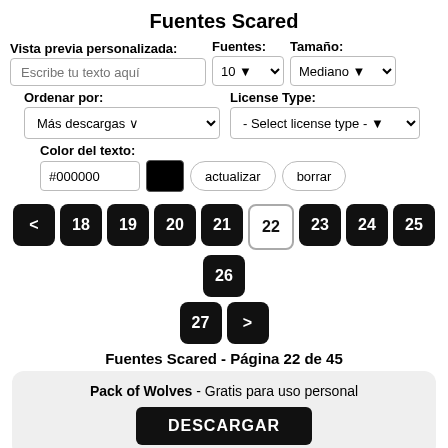Fuentes Scared
Vista previa personalizada: Fuentes: Tamaño:
Ordenar por: License Type:
Color del texto: #000000 actualizar borrar
[Figure (screenshot): Pagination buttons: < 18 19 20 21 22(active) 23 24 25 26, then 27 >]
Fuentes Scared - Página 22 de 45
Pack of Wolves - Gratis para uso personal DESCARGAR
[Figure (illustration): Font preview showing stylized scary/horror text 'Pack of Wolves' in dark ink style at the bottom of the page]